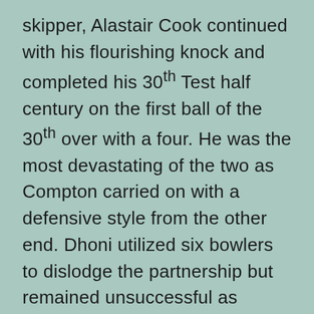skipper, Alastair Cook continued with his flourishing knock and completed his 30th Test half century on the first ball of the 30th over with a four. He was the most devastating of the two as Compton carried on with a defensive style from the other end. Dhoni utilized six bowlers to dislodge the partnership but remained unsuccessful as England reached 111 in 38 overs when the play concluded. Alastair Cook was going strong at 74 off 124 deliveries with 13 fours and Nick Compton secured his end for 34 off 104 with 2 fours.
England still faces an uphill task to save the